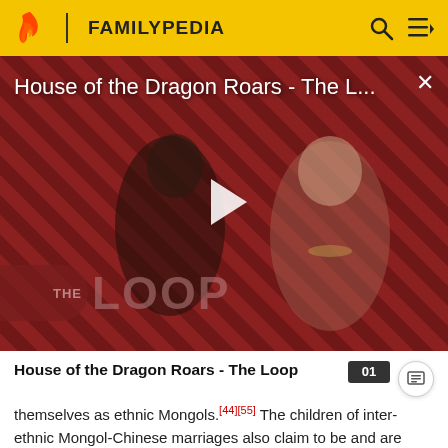FAMILYPEDIA
[Figure (screenshot): Video thumbnail for 'House of the Dragon Roars - The L...' showing two characters from the show on a diagonal striped red/black background, with a play button in the center and 'THE LOOP' watermark in the lower left. A close (X) button is in the upper right.]
House of the Dragon Roars - The Loop
themselves as ethnic Mongols.[44][55] The children of inter-ethnic Mongol-Chinese marriages also claim to be and are registered as ethnic Mongols.[56]